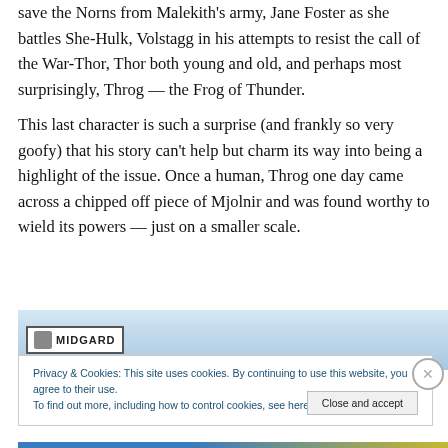save the Norns from Malekith's army, Jane Foster as she battles She-Hulk, Volstagg in his attempts to resist the call of the War-Thor, Thor both young and old, and perhaps most surprisingly, Throg — the Frog of Thunder.
This last character is such a surprise (and frankly so very goofy) that his story can't help but charm its way into being a highlight of the issue. Once a human, Throg one day came across a chipped off piece of Mjolnir and was found worthy to wield its powers — just on a smaller scale.
[Figure (screenshot): A banner image showing the Midgard website header with 'MIDGARD' text in a badge on a blue sky background with some illustrated characters visible.]
Privacy & Cookies: This site uses cookies. By continuing to use this website, you agree to their use.
To find out more, including how to control cookies, see here: Cookie Policy
Close and accept